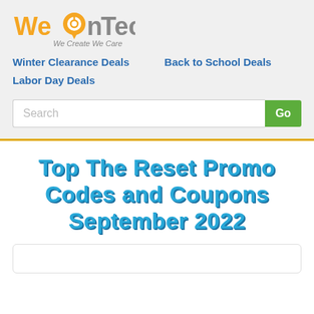[Figure (logo): WeOnTech logo with orange and gray text and map pin icon. Tagline: We Create We Care]
Winter Clearance Deals
Back to School Deals
Labor Day Deals
Top The Reset Promo Codes and Coupons September 2022
[Figure (other): White card/box at the bottom, partially visible]